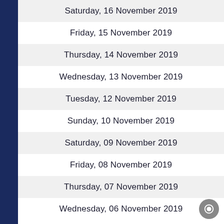Saturday, 16 November 2019
Friday, 15 November 2019
Thursday, 14 November 2019
Wednesday, 13 November 2019
Tuesday, 12 November 2019
Sunday, 10 November 2019
Saturday, 09 November 2019
Friday, 08 November 2019
Thursday, 07 November 2019
Wednesday, 06 November 2019